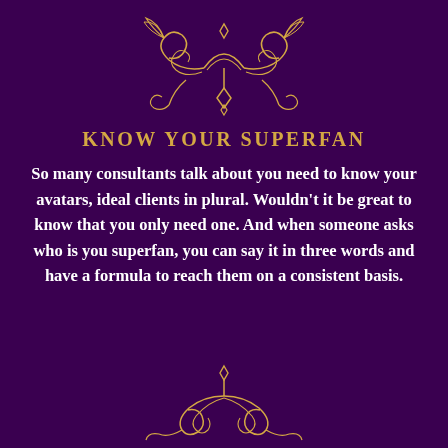[Figure (illustration): Gold ornamental decorative flourish design at the top center of the page]
KNOW YOUR SUPERFAN
So many consultants talk about you need to know your avatars, ideal clients in plural. Wouldn't it be great to know that you only need one. And when someone asks who is you superfan, you can say it in three words and have a formula to reach them on a consistent basis.
[Figure (illustration): Gold ornamental decorative flourish design at the bottom center of the page]